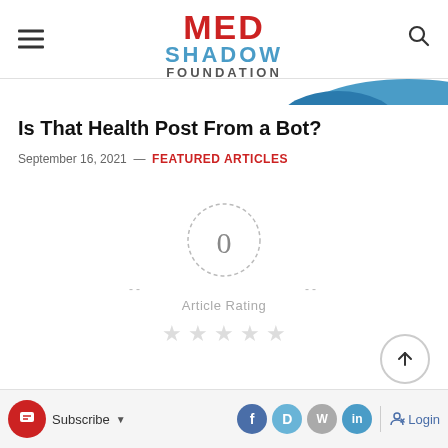MED SHADOW FOUNDATION
Is That Health Post From a Bot?
September 16, 2021 — FEATURED ARTICLES
[Figure (other): Article rating widget showing 0 with dashed circle, 'Article Rating' label, and 5 empty grey stars]
Subscribe | Social icons (Facebook, Disqus, WordPress, LinkedIn) | Login